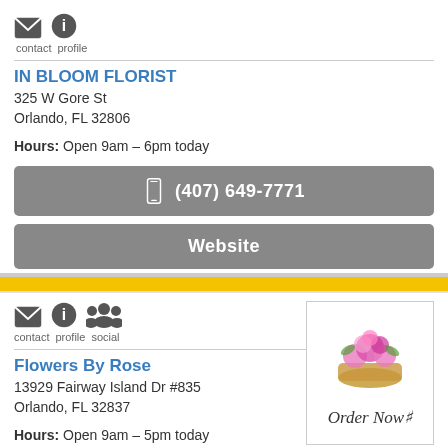contact  profile
IN BLOOM FLORIST
325 W Gore St
Orlando, FL 32806
Hours: Open 9am – 6pm today
(407) 649-7771
Website
contact  profile  social
Flowers By Rose
13929 Fairway Island Dr #835
Orlando, FL 32837
Hours: Open 9am – 5pm today
[Figure (photo): Flower basket arrangement with pink flowers]
Order Now
(689) 688-2756